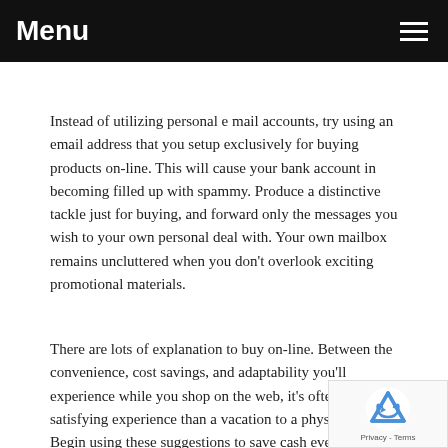Menu
Instead of utilizing personal e mail accounts, try using an email address that you setup exclusively for buying products on-line. This will cause your bank account in becoming filled up with spammy. Produce a distinctive tackle just for buying, and forward only the messages you wish to your own personal deal with. Your own mailbox remains uncluttered when you don't overlook exciting promotional materials.
There are lots of explanation to buy on-line. Between the convenience, cost savings, and adaptability you'll experience while you shop on the web, it's often a more satisfying experience than a vacation to a physical store. Begin using these suggestions to save cash every time you buy something.